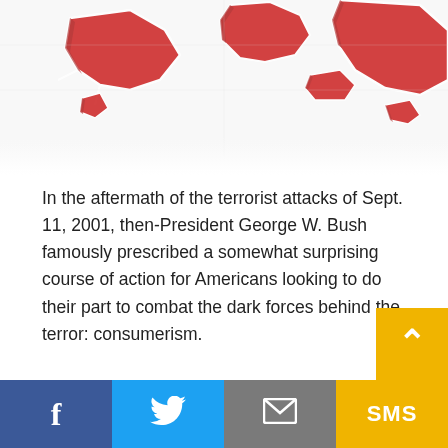[Figure (illustration): 3D rendered world map with red and white puzzle-piece style continents on a white background, cropped showing top portion]
In the aftermath of the terrorist attacks of Sept. 11, 2001, then-President George W. Bush famously prescribed a somewhat surprising course of action for Americans looking to do their part to combat the dark forces behind the terror: consumerism.
Rather than lifting up concepts like shared sacrifice, self-reflection, or God forbid, slightly higher taxes to pay for the multi-trillion-dollar war he was about to launch, Bush told Americans to “Get on board. Do your business around the country. Fly and enjoy America’s great destination spots. Get down t
f  [Twitter]  [Email]  SMS